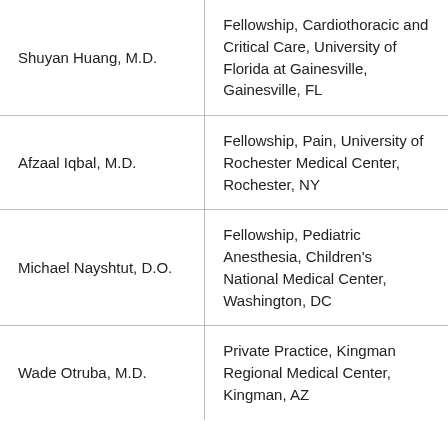| Shuyan Huang, M.D. | Fellowship, Cardiothoracic and Critical Care, University of Florida at Gainesville, Gainesville, FL |
| Afzaal Iqbal, M.D. | Fellowship, Pain, University of Rochester Medical Center, Rochester, NY |
| Michael Nayshtut, D.O. | Fellowship, Pediatric Anesthesia, Children's National Medical Center, Washington, DC |
| Wade Otruba, M.D. | Private Practice, Kingman Regional Medical Center, Kingman, AZ |